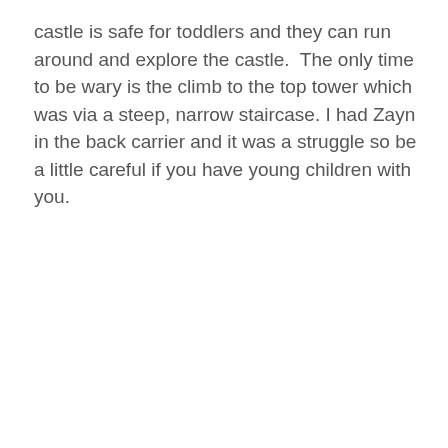castle is safe for toddlers and they can run around and explore the castle.  The only time to be wary is the climb to the top tower which was via a steep, narrow staircase. I had Zayn in the back carrier and it was a struggle so be a little careful if you have young children with you.